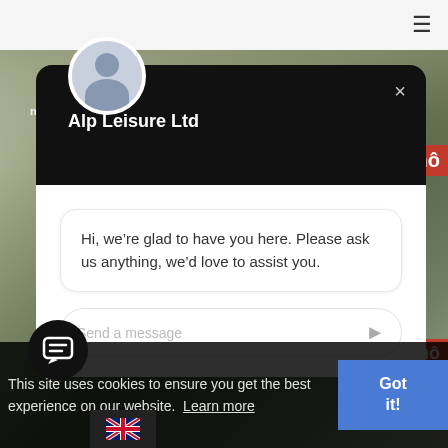[Figure (screenshot): Website screenshot showing a chat widget popup for Alp Leisure Ltd over a background photo of a cyclist/skier at a race event. The chat widget has a black header with 'Alp Leisure Ltd' title and an avatar, a white message body saying 'Hi, we're glad to have you here. Please ask us anything, we'd love to assist you.' and a text input bar. A cookie consent bar is at the bottom. A hamburger menu icon is in the top right.]
Alp Leisure Ltd
Hi, we’re glad to have you here. Please ask us anything, we’d love to assist you.
Send a message
This site uses cookies to ensure you get the best experience on our website.  Learn more
Got it!